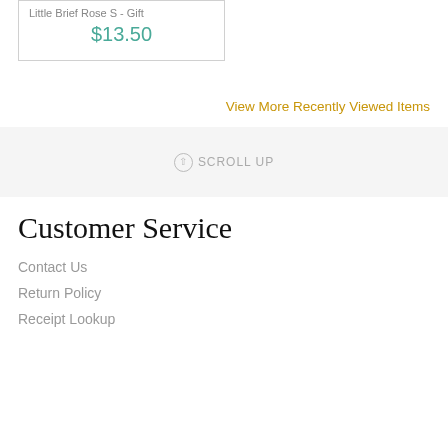Little Brief Rose S - Gift
$13.50
View More Recently Viewed Items
⊕ SCROLL UP
Customer Service
Contact Us
Return Policy
Receipt Lookup